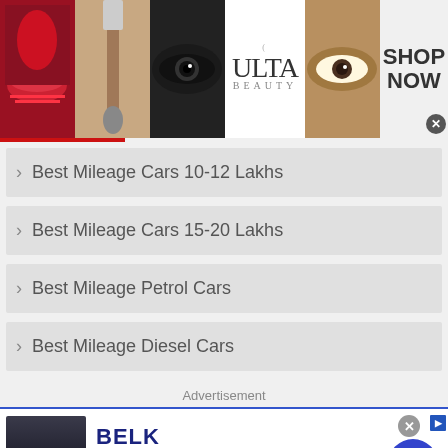[Figure (illustration): Top advertisement banner showing makeup/beauty images with ULTA beauty logo and SHOP NOW call to action]
Best Mileage Cars 10-12 Lakhs
Best Mileage Cars 15-20 Lakhs
Best Mileage Petrol Cars
Best Mileage Diesel Cars
Advertisement
[Figure (illustration): Bottom advertisement for BELK - Denim all day. www.belk.com with a blue arrow button and close button]